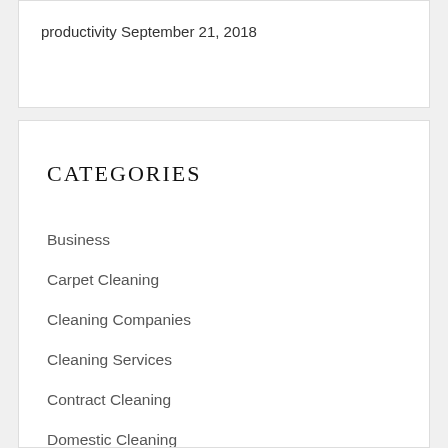productivity September 21, 2018
CATEGORIES
Business
Carpet Cleaning
Cleaning Companies
Cleaning Services
Contract Cleaning
Domestic Cleaning
End of Tenancy Cleaning
Gardening Services